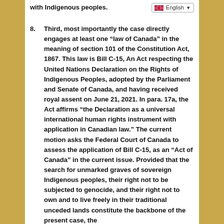with Indigenous peoples.
8. Third, most importantly the case directly engages at least one “law of Canada” in the meaning of section 101 of the Constitution Act, 1867. This law is Bill C-15, An Act respecting the United Nations Declaration on the Rights of Indigenous Peoples, adopted by the Parliament and Senate of Canada, and having received royal assent on June 21, 2021. In para. 17a, the Act affirms “the Declaration as a universal international human rights instrument with application in Canadian law.” The current motion asks the Federal Court of Canada to assess the application of Bill C-15, as an “Act of Canada” in the current issue. Provided that the search for unmarked graves of sovereign Indigenous peoples, their right not to be subjected to genocide, and their right not to own and to live freely in their traditional unceded lands constitute the backbone of the present case, the